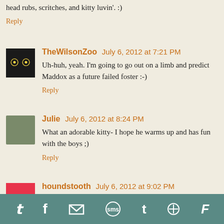...happy to be in a house where the people understand head rubs, scritches, and kitty luvin'. :)
Reply
TheWilsonZoo  July 6, 2012 at 7:21 PM
Uh-huh, yeah. I'm going to go out on a limb and predict Maddox as a future failed foster :-)
Reply
Julie  July 6, 2012 at 8:24 PM
What an adorable kitty- I hope he warms up and has fun with the boys ;)
Reply
houndstooth  July 6, 2012 at 9:02 PM
[Figure (infographic): Social sharing bar with icons: Twitter, Facebook, Email, SMS, Tumblr, Pinterest, Flipboard]